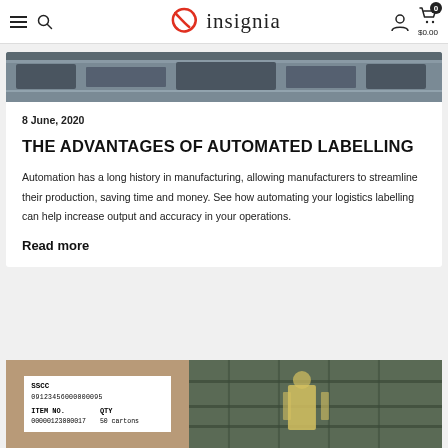insignia — navigation header with hamburger, search, logo, user icon, cart ($0.00)
[Figure (photo): Top portion of hero image showing industrial labelling machinery, partially cropped at top]
8 June, 2020
THE ADVANTAGES OF AUTOMATED LABELLING
Automation has a long history in manufacturing, allowing manufacturers to streamline their production, saving time and money. See how automating your logistics labelling can help increase output and accuracy in your operations.
Read more
[Figure (photo): Bottom strip showing a barcode label with SSCC 09123456000000095, ITEM NO. 00000123000017, QTY 50 cartons, and a warehouse scene with worker in yellow high-vis vest]